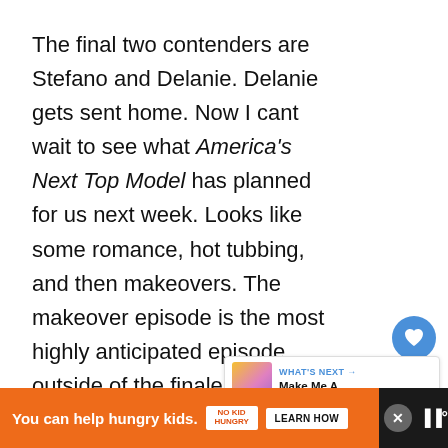The final two contenders are Stefano and Delanie. Delanie gets sent home. Now I cant wait to see what America's Next Top Model has planned for us next week. Looks like some romance, hot tubbing, and then makeovers. The makeover episode is the most highly anticipated episode outside of the finale, so let's hope the next six days fly by.
America's Next Top Model airs Wednesday at 8pm on The CW.
[Figure (screenshot): What's Next promo box showing Make Me A Supermodel... with colorful fashion illustration thumbnail]
[Figure (screenshot): Advertisement bar: You can help hungry kids. No Kid Hungry. LEARN HOW button on dark background.]